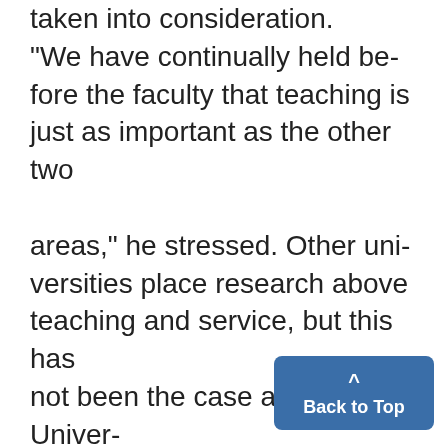taken into consideration. "We have continually held before the faculty that teaching is just as important as the other two areas," he stressed. Other universities place research above teaching and service, but this has not been the case at the University within the last few decades, Vice-President Heyns continued. Almost 100 of the promotions are from assistant to associate professor the crucial step that